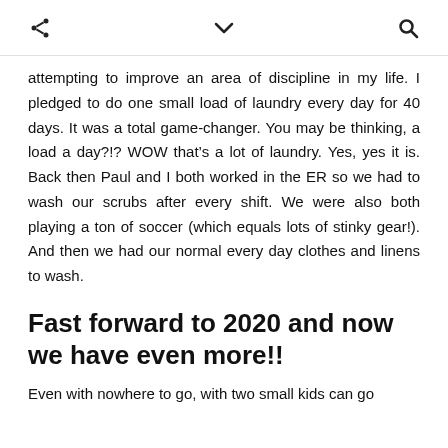[share icon] [dropdown icon] [search icon]
attempting to improve an area of discipline in my life. I pledged to do one small load of laundry every day for 40 days. It was a total game-changer. You may be thinking, a load a day?!? WOW that’s a lot of laundry. Yes, yes it is. Back then Paul and I both worked in the ER so we had to wash our scrubs after every shift. We were also both playing a ton of soccer (which equals lots of stinky gear!). And then we had our normal every day clothes and linens to wash.
Fast forward to 2020 and now we have even more!!
Even with nowhere to go, with two small kids can go